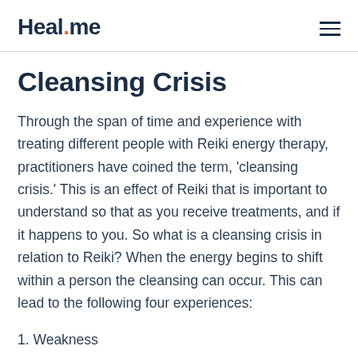Heal.me
Cleansing Crisis
Through the span of time and experience with treating different people with Reiki energy therapy, practitioners have coined the term, 'cleansing crisis.' This is an effect of Reiki that is important to understand so that as you receive treatments, and if it happens to you. So what is a cleansing crisis in relation to Reiki? When the energy begins to shift within a person the cleansing can occur. This can lead to the following four experiences:
1. Weakness